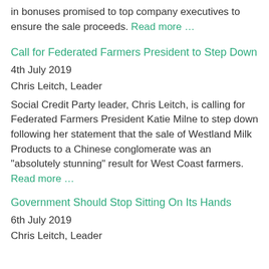in bonuses promised to top company executives to ensure the sale proceeds. Read more …
Call for Federated Farmers President to Step Down
4th July 2019
Chris Leitch, Leader
Social Credit Party leader, Chris Leitch, is calling for Federated Farmers President Katie Milne to step down following her statement that the sale of Westland Milk Products to a Chinese conglomerate was an "absolutely stunning" result for West Coast farmers. Read more …
Government Should Stop Sitting On Its Hands
6th July 2019
Chris Leitch, Leader